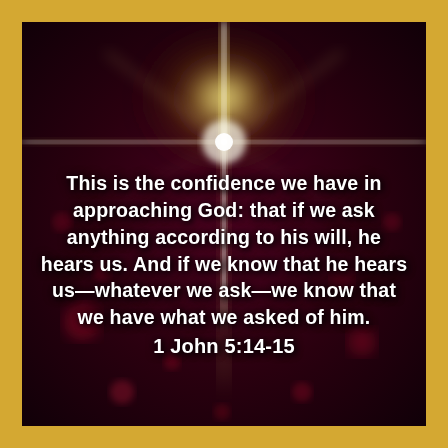[Figure (illustration): Dark reddish-brown bokeh background with a bright glowing star/cross of light radiating from the upper center, creating a dramatic spiritual atmosphere.]
This is the confidence we have in approaching God: that if we ask anything according to his will, he hears us. And if we know that he hears us—whatever we ask—we know that we have what we asked of him.
1 John 5:14-15